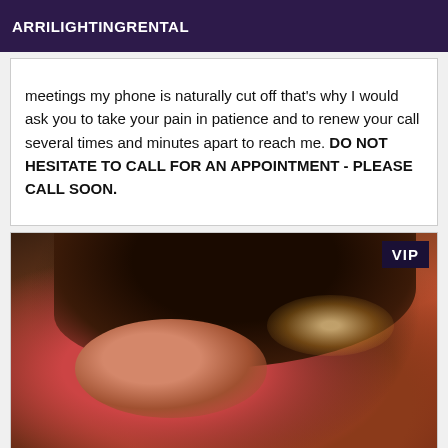ARRILIGHTINGRENTAL
meetings my phone is naturally cut off that's why I would ask you to take your pain in patience and to renew your call several times and minutes apart to reach me. DO NOT HESITATE TO CALL FOR AN APPOINTMENT - PLEASE CALL SOON.
[Figure (photo): A woman with long dark curly hair wearing a red outfit, photographed close-up at an angle, with a VIP badge overlay in the top right corner.]